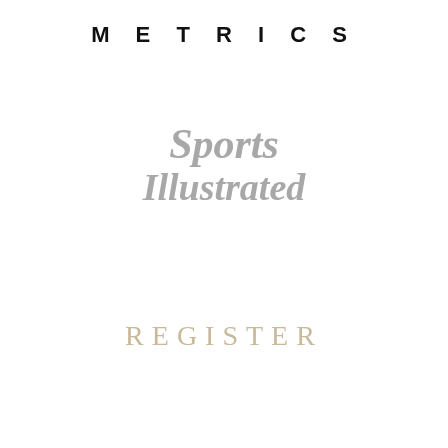METRICS
[Figure (logo): Sports Illustrated logo in gray/silver bold italic condensed font with white inline stroke effect]
REGISTER